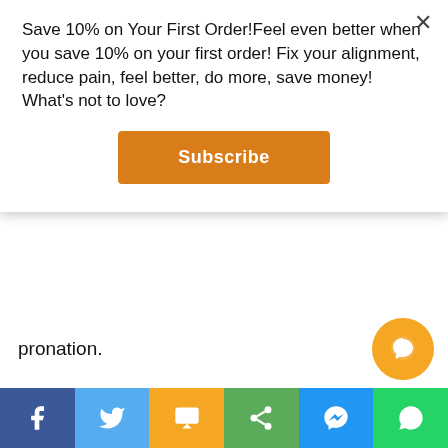[Figure (screenshot): Modal popup with orange close button (×), promotional text 'Save 10% on Your First Order!Feel even better when you save 10% on your first order! Fix your alignment, reduce pain, feel better, do more, save money! What's not to love?' and an orange Subscribe button]
pronation.
Excessive pronation places pressure on the arch and stretches the plantar fascia (which supports the arch) and can create inflammation at the attachment on the heel.
This repetitive, excessive pronation, is the main contributor to many lower extremity, overuse injuries, of which plantar fasciitis, heel bone spurs, and the
[Figure (screenshot): Social media share bar at bottom with Facebook (blue), Twitter (light blue), SMS (orange/yellow), Share (green), Messenger (blue), WhatsApp (green) buttons, and an orange chat bubble icon]